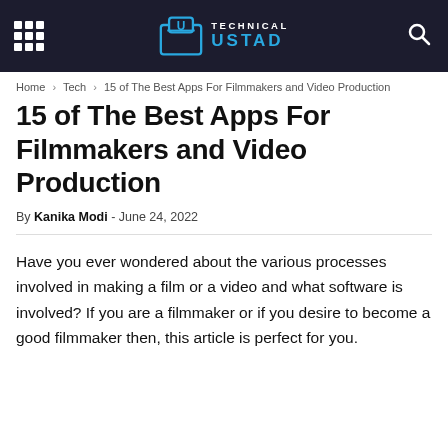Technical Ustad
Home › Tech › 15 of The Best Apps For Filmmakers and Video Production
15 of The Best Apps For Filmmakers and Video Production
By Kanika Modi - June 24, 2022
Have you ever wondered about the various processes involved in making a film or a video and what software is involved? If you are a filmmaker or if you desire to become a good filmmaker then, this article is perfect for you.